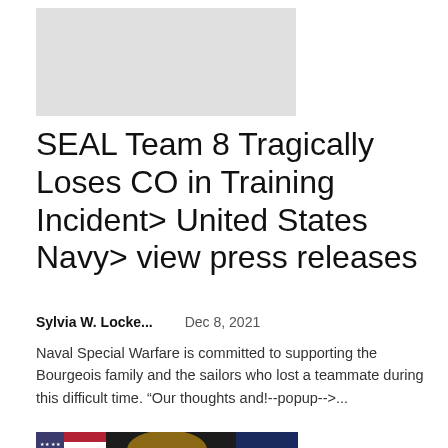[Figure (photo): Gray placeholder thumbnail image]
SEAL Team 8 Tragically Loses CO in Training Incident> United States Navy> view press releases
Sylvia W. Locke...   Dec 8, 2021
Naval Special Warfare is committed to supporting the Bourgeois family and the sailors who lost a teammate during this difficult time. “Our thoughts and!--popup-->...
[Figure (photo): Portrait photo of a man smiling with an American flag and a Navy flag in the background]